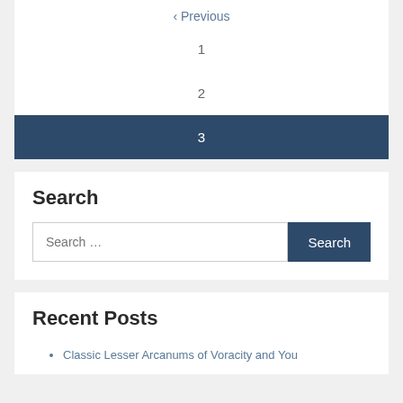< Previous
1
2
3
Search
Search …
Recent Posts
Classic Lesser Arcanums of Voracity and You